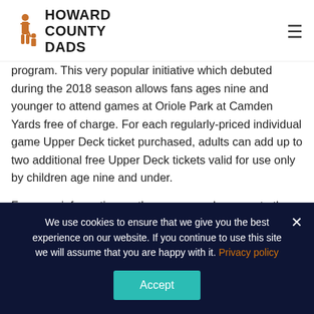HOWARD COUNTY DADS
program. This very popular initiative which debuted during the 2018 season allows fans ages nine and younger to attend games at Oriole Park at Camden Yards free of charge. For each regularly-priced individual game Upper Deck ticket purchased, adults can add up to two additional free Upper Deck tickets valid for use only by children age nine and under.
For more information on the program, please go to the Kids Cheer Free website.
We use cookies to ensure that we give you the best experience on our website. If you continue to use this site we will assume that you are happy with it. Privacy policy Accept